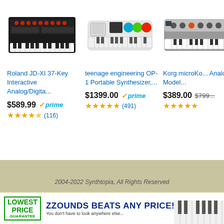[Figure (screenshot): Roland JD-XI 37-Key synthesizer keyboard product image]
[Figure (screenshot): teenage engineering OP-1 Portable Synthesizer product image]
[Figure (screenshot): Korg microKorg Analog Modeling synthesizer product image (partially cropped)]
Roland JD-XI 37-Key Interactive Analog/Digita...
$589.99 prime (116 reviews, 4.5 stars)
teenage engineering OP-1 Portable Synthesizer,...
$1399.00 prime (491 reviews, 5 stars)
Korg microKo... Analog Model...
$389.00 $799... (reviews shown, 5 stars)
2004-2022 Synthtopia, All Rights Reserved
[Figure (infographic): ZZounds Beats Any Price banner with lowest price badge and keyboard image]